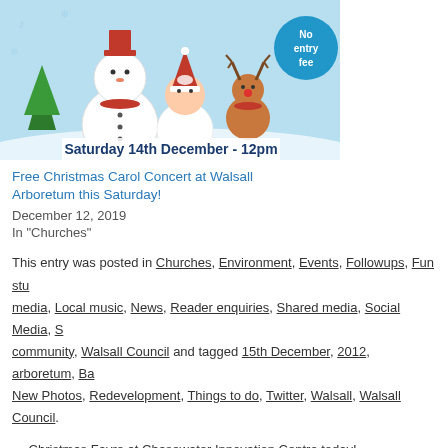[Figure (illustration): Christmas event poster showing cartoon snowman, Santa, and reindeer on a snowy background with 'No entry fee' badge and 'Saturday 14th December - 12pm' text]
Free Christmas Carol Concert at Walsall Arboretum this Saturday!
December 12, 2019
In "Churches"
This entry was posted in Churches, Environment, Events, Followups, Fun stu... media, Local music, News, Reader enquiries, Shared media, Social Media, S... community, Walsall Council and tagged 15th December, 2012, arboretum, Ba... New Photos, Redevelopment, Things to do, Twitter, Walsall, Walsall Council.
← Christmas Fayre at Chasewater Innovation Centre today!
2 Responses to Bandstand Christmas Caro... Arboretum today!
Ian M-J says: